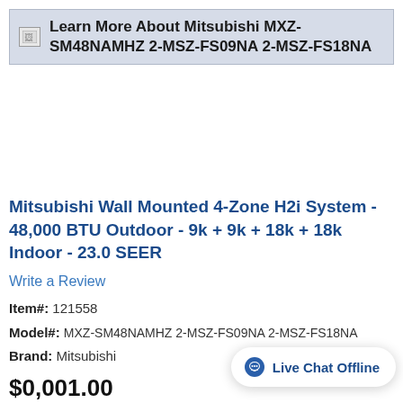[Figure (screenshot): Banner with broken image icon and text: Learn More About Mitsubishi MXZ-SM48NAMHZ 2-MSZ-FS09NA 2-MSZ-FS18NA]
Mitsubishi Wall Mounted 4-Zone H2i System - 48,000 BTU Outdoor - 9k + 9k + 18k + 18k Indoor - 23.0 SEER
Write a Review
Item#: 121558
Model#: MXZ-SM48NAMHZ 2-MSZ-FS09NA 2-MSZ-FS18NA
Brand: Mitsubishi
$0,001.00 (partial price visible)
[Figure (screenshot): Live Chat Offline button widget in lower right corner]